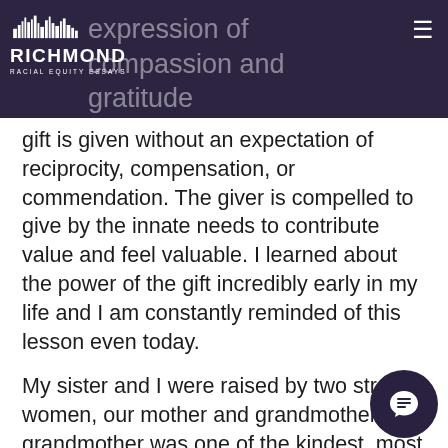Richmond Racial Equity Essays
expression of compassion and gratitude shared by the giver and the recipient.  A gift is given without an expectation of reciprocity, compensation, or commendation.  The giver is compelled to give by the innate needs to contribute value and feel valuable.  I learned about the power of the gift incredibly early in my life and I am constantly reminded of this lesson even today.
My sister and I were raised by two strong women, our mother and grandmother.  Our grandmother was one of the kindest, most giving souls you would